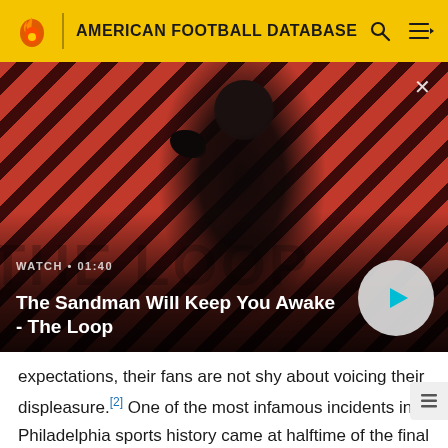AMERICAN FOOTBALL DATABASE
[Figure (screenshot): Video thumbnail for 'The Sandman Will Keep You Awake - The Loop' showing a dark-cloaked figure with a raven against a diagonal red and dark stripe background. Shows WATCH · 01:40 label and a play button.]
expectations, their fans are not shy about voicing their displeasure.[2] One of the most infamous incidents in Philadelphia sports history came at halftime of the final game of the 1968 season. After a dismal season, the Eagles were on their way to losing to the Minnesota